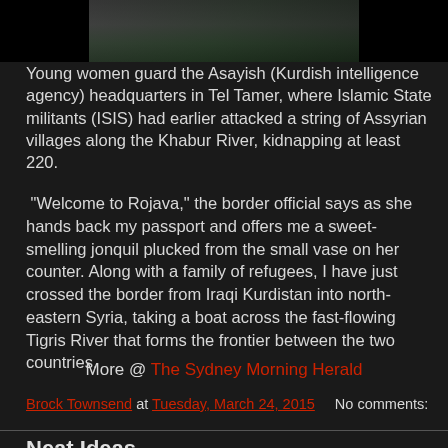[Figure (photo): Partial view of young women guarding the Asayish headquarters, dark background]
Young women guard the Asayish (Kurdish intelligence agency) headquarters in Tel Tamer, where Islamic State militants (ISIS) had earlier attacked a string of Assyrian villages along the Khabur River, kidnapping at least 220.
"Welcome to Rojava," the border official says as she hands back my passport and offers me a sweet-smelling jonquil plucked from the small vase on her counter. Along with a family of refugees, I have just crossed the border from Iraqi Kurdistan into north-eastern Syria, taking a boat across the fast-flowing Tigris River that forms the frontier between the two countries.
More @ The Sydney Morning Herald
Brock Townsend at Tuesday, March 24, 2015   No comments:
Neat Ideas